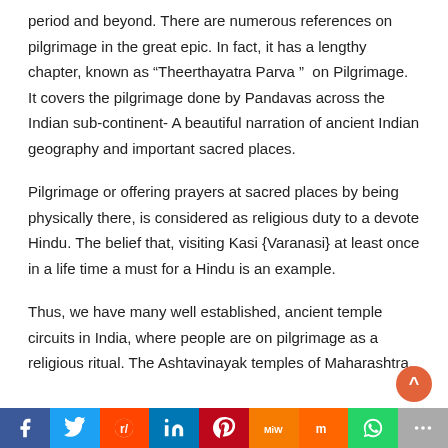period and beyond. There are numerous references on pilgrimage in the great epic. In fact, it has a lengthy chapter, known as “Theerthayatra Parva ”  on Pilgrimage. It covers the pilgrimage done by Pandavas across the Indian sub-continent- A beautiful narration of ancient Indian geography and important sacred places.
Pilgrimage or offering prayers at sacred places by being physically there, is considered as religious duty to a devote Hindu. The belief that, visiting Kasi {Varanasi} at least once in a life time a must for a Hindu is an example.
Thus, we have many well established, ancient temple circuits in India, where people are on pilgrimage as a religious ritual. The Ashtavinayak temples of Maharashtra,
Facebook | Twitter | Reddit | LinkedIn | Pinterest | MeWe | Mix | WhatsApp | Share